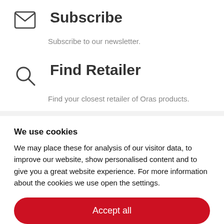Subscribe
Subscribe to our newsletter.
Find Retailer
Find your closest retailer of Oras products.
We use cookies
We may place these for analysis of our visitor data, to improve our website, show personalised content and to give you a great website experience. For more information about the cookies we use open the settings.
Accept all
Deny
No, adjust